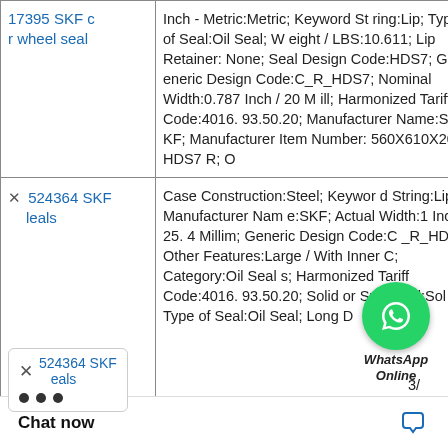| Product Name | Description |
| --- | --- |
| 17395 SKF cr wheel seal | Inch - Metric:Metric; Keyword String:Lip; Type of Seal:Oil Seal; Weight / LBS:10.611; Lip Retainer:None; Seal Design Code:HDS7; Generic Design Code:C_R_HDS7; Nominal Width:0.787 Inch / 20 Mill; Harmonized Tariff Code:4016.93.50.20; Manufacturer Name:SKF; Manufacturer Item Number:560X610X20 HDS7 R; O |
| 524364 SKF ... eals | Case Construction:Steel; Keyword String:Lip; Manufacturer Name:SKF; Actual Width:1 Inch / 25.4 Millim; Generic Design Code:C_R_HDS1; Other Features:Large / With Inner C; Category:Oil Seals; Harmonized Tariff Code:4016.93.50.20; Solid or Split Seal:Solid; Type of Seal:Oil Seal; Long D ... 3/ |
[Figure (logo): WhatsApp Online button overlay with green circle phone icon and 'WhatsApp Online' italic label]
Chat now